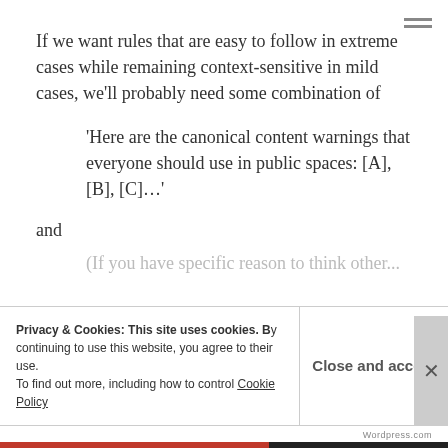If we want rules that are easy to follow in extreme cases while remaining context-sensitive in mild cases, we'll probably need some combination of
'Here are the canonical content warnings that everyone should use in public spaces: [A], [B], [C]…'
and
(If you have specific reason to think other...
Privacy & Cookies: This site uses cookies. By continuing to use this website, you agree to their use. To find out more, including how to control cookies, see here: Cookie Policy